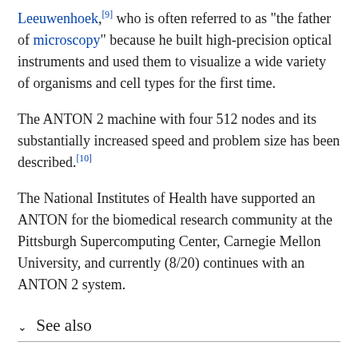Leeuwenhoek,[9] who is often referred to as "the father of microscopy" because he built high-precision optical instruments and used them to visualize a wide variety of organisms and cell types for the first time.
The ANTON 2 machine with four 512 nodes and its substantially increased speed and problem size has been described.[10]
The National Institutes of Health have supported an ANTON for the biomedical research community at the Pittsburgh Supercomputing Center, Carnegie Mellon University, and currently (8/20) continues with an ANTON 2 system.
See also